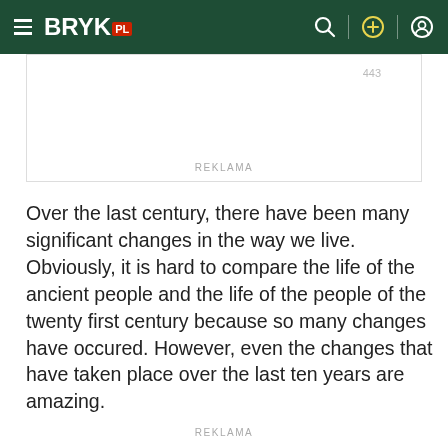BRYK.pl
[Figure (screenshot): Advertisement banner (REKLAMA) with placeholder image]
Over the last century, there have been many significant changes in the way we live. Obviously, it is hard to compare the life of the ancient people and the life of the people of the twenty first century because so many changes have occured. However, even the changes that have taken place over the last ten years are amazing.
REKLAMA